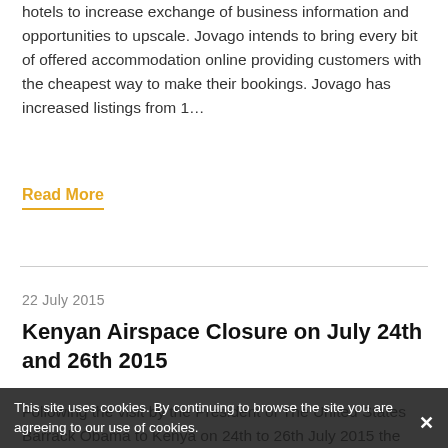hotels to increase exchange of business information and opportunities to upscale. Jovago intends to bring every bit of offered accommodation online providing customers with the cheapest way to make their bookings. Jovago has increased listings from 1…
Read More
22 July 2015
Kenyan Airspace Closure on July 24th and 26th 2015
Following the visit by the President of The United States Barrack Obama to Kenya on 24th to 26th July 2015 the Kenyan Airspace will be closed few hours on each of those days. Date    24th Jul. closure 7.45pm – 8.35pm       26th Jul. closure 3.05pm – 5.45pm Kenya Airways expects some disruptions to its flight
This site uses cookies. By continuing to browse the site you are agreeing to our use of cookies.